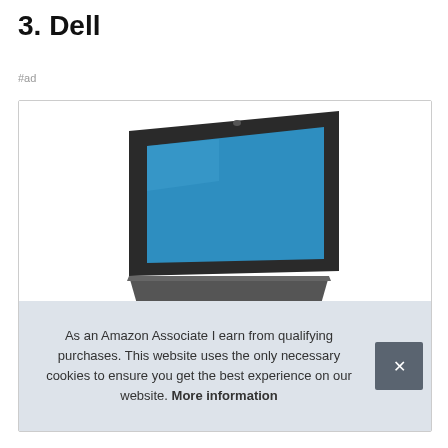3. Dell
#ad
[Figure (photo): Dell laptop computer shown at an angle, with a black bezel and blue screen, photographed against a white background inside a product listing box.]
As an Amazon Associate I earn from qualifying purchases. This website uses the only necessary cookies to ensure you get the best experience on our website. More information